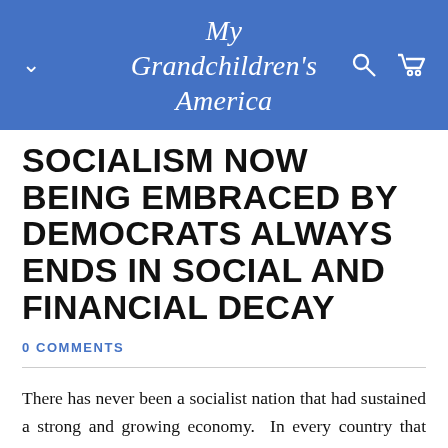My Grandchildren's America
SOCIALISM NOW BEING EMBRACED BY DEMOCRATS ALWAYS ENDS IN SOCIAL AND FINANCIAL DECAY
0 COMMENTS
There has never been a socialist nation that had sustained a strong and growing economy.  In every country that embraced socialism corruption and crime became the